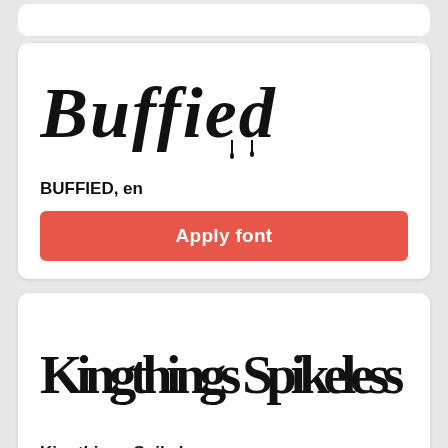[Figure (illustration): Font preview showing 'Buffied' in a dripping gothic style font]
BUFFIED, en
Apply font
[Figure (illustration): Font preview showing 'Kingthings Spikeless' in a blackletter/gothic style font]
Kingthings Spikeless, en
Please, share link to our service,